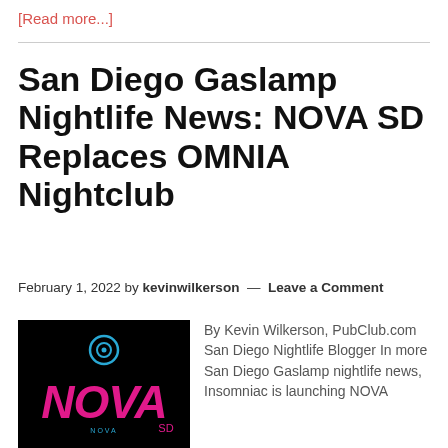[Read more...]
San Diego Gaslamp Nightlife News: NOVA SD Replaces OMNIA Nightclub
February 1, 2022 by kevinwilkerson — Leave a Comment
[Figure (logo): Black background with NOVA logo in pink/magenta and a blue circular icon above it]
By Kevin Wilkerson, PubClub.com San Diego Nightlife Blogger In more San Diego Gaslamp nightlife news, Insomniac is launching NOVA